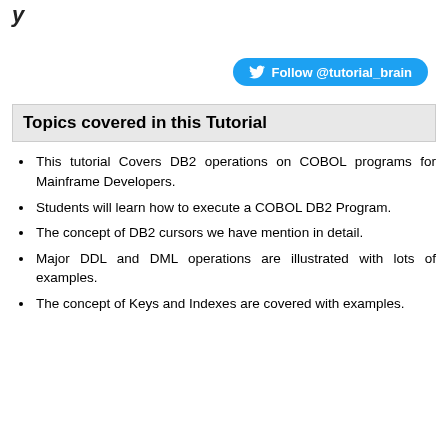[Figure (other): Twitter follow button: Follow @tutorial_brain]
Topics covered in this Tutorial
This tutorial Covers DB2 operations on COBOL programs for Mainframe Developers.
Students will learn how to execute a COBOL DB2 Program.
The concept of DB2 cursors we have mention in detail.
Major DDL and DML operations are illustrated with lots of examples.
The concept of Keys and Indexes are covered with examples.